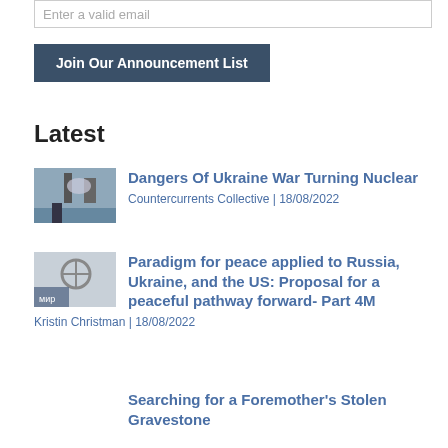Enter a valid email
Join Our Announcement List
Latest
[Figure (photo): Photo of industrial/nuclear plant with cooling towers, soldier silhouette in foreground]
Dangers Of Ukraine War Turning Nuclear
Countercurrents Collective | 18/08/2022
[Figure (photo): Photo showing a child and peace symbol with Cyrillic text 'мир' (peace)]
Paradigm for peace applied to Russia, Ukraine, and the US: Proposal for a peaceful pathway forward- Part 4M
Kristin Christman | 18/08/2022
Searching for a Foremother's Stolen Gravestone